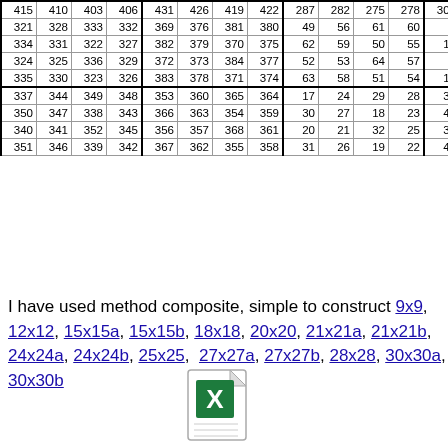| 415 | 410 | 403 | 406 | 431 | 426 | 419 | 422 | 287 | 282 | 275 | 278 | 303 | 298 | 291 | 294 |
| 321 | 328 | 333 | 332 | 369 | 376 | 381 | 380 | 49 | 56 | 61 | 60 | 1 | 8 | 13 | 12 |
| 334 | 331 | 322 | 327 | 382 | 379 | 370 | 375 | 62 | 59 | 50 | 55 | 14 | 11 | 2 | 7 |
| 324 | 325 | 336 | 329 | 372 | 373 | 384 | 377 | 52 | 53 | 64 | 57 | 4 | 5 | 16 | 9 |
| 335 | 330 | 323 | 326 | 383 | 378 | 371 | 374 | 63 | 58 | 51 | 54 | 15 | 10 | 3 | 6 |
| 337 | 344 | 349 | 348 | 353 | 360 | 365 | 364 | 17 | 24 | 29 | 28 | 33 | 40 | 45 | 44 |
| 350 | 347 | 338 | 343 | 366 | 363 | 354 | 359 | 30 | 27 | 18 | 23 | 46 | 43 | 34 | 39 |
| 340 | 341 | 352 | 345 | 356 | 357 | 368 | 361 | 20 | 21 | 32 | 25 | 36 | 37 | 48 | 41 |
| 351 | 346 | 339 | 342 | 367 | 362 | 355 | 358 | 31 | 26 | 19 | 22 | 47 | 42 | 35 | 38 |
I have used method composite, simple to construct 9x9, 12x12, 15x15a, 15x15b, 18x18, 20x20, 21x21a, 21x21b, 24x24a, 24x24b, 25x25, 27x27a, 27x27b, 28x28, 30x30a, 30x30b
[Figure (other): Excel spreadsheet file icon]